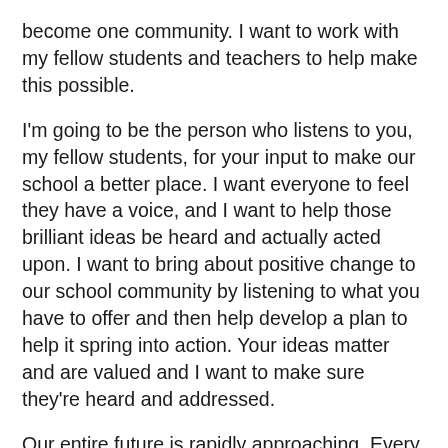become one community. I want to work with my fellow students and teachers to help make this possible.
I'm going to be the person who listens to you, my fellow students, for your input to make our school a better place. I want everyone to feel they have a voice, and I want to help those brilliant ideas be heard and actually acted upon. I want to bring about positive change to our school community by listening to what you have to offer and then help develop a plan to help it spring into action. Your ideas matter and are valued and I want to make sure they're heard and addressed.
Our entire future is rapidly approaching. Every decision we make is an opportunity for growth so we can have a successful future. I want our high school experience to be the best it can be. Thank you for voting for me, Lily Fisher. I promise I'll work hard to be a voice for us all.